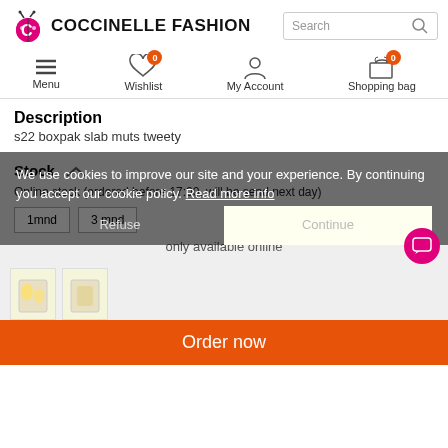[Figure (logo): Coccinelle Fashion logo with ladybug icon]
COCCINELLE FASHION
[Figure (screenshot): Search box with magnifier icon]
[Figure (infographic): Navigation bar with Menu, Wishlist (0), My Account, Shopping bag (0) icons]
Description
s22 boxpak slab muts tweety
Stock
Online stock (ordered before 17:00, will be send next day)
1mnd   3 mnd
only available online
We use cookies to improve our site and your experience. By continuing you accept our cookie policy. Read more info
Refuse   Continue
Order now